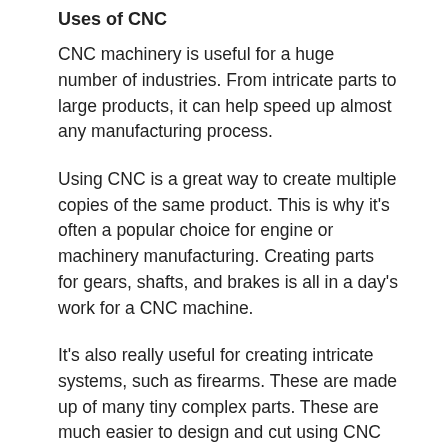Uses of CNC
CNC machinery is useful for a huge number of industries. From intricate parts to large products, it can help speed up almost any manufacturing process.
Using CNC is a great way to create multiple copies of the same product. This is why it’s often a popular choice for engine or machinery manufacturing. Creating parts for gears, shafts, and brakes is all in a day's work for a CNC machine.
It’s also really useful for creating intricate systems, such as firearms. These are made up of many tiny complex parts. These are much easier to design and cut using CNC technology rather than cutting them by hand.
CNC is also used a lot in the aerospace industry as it offers brilliant precision, which is important in aerospace technology. In fact, margins on aerospace products are often as tight as 0.0001 inches. In addition,